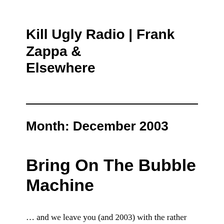Kill Ugly Radio | Frank Zappa & Elsewhere
Month: December 2003
Bring On The Bubble Machine
… and we leave you (and 2003) with the rather disturbing news that William Shatner is set to